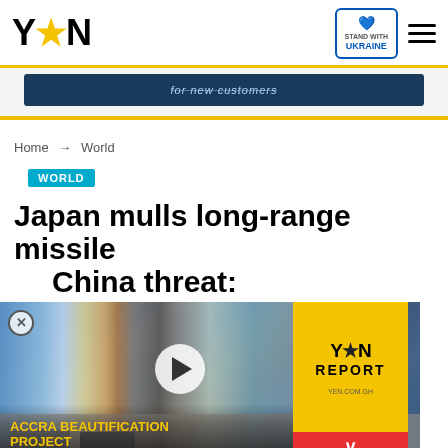YEN ★ | STAND WITH UKRAINE
[Figure (screenshot): Partial ad banner with dark blue background and partially visible text 'for new customers']
Home → World
WORLD
Japan mulls long-range missile China threat:
[Figure (screenshot): Video player overlay showing street mural/wall art in background, YEN REPORT yellow panel on right, play button in center, ACCRA BEAUTIFICATION PROJECT text at bottom left, dismiss button in red]
© AFP 2022
[Figure (screenshot): Bottom advertisement bar: City escapes Now at 10% off, dark blue background with orange circle icon and close/play controls]